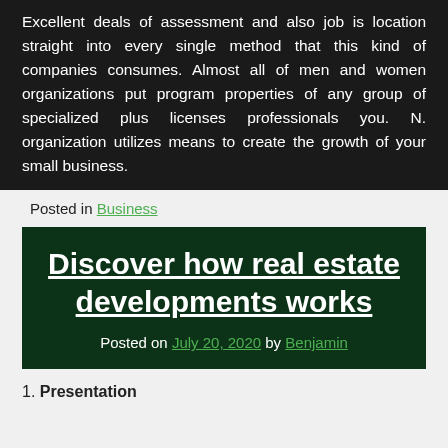Excellent deals of assessment and also job is location straight into every single method that this kind of companies consumes. Almost all of men and women organizations put program properties of any group of specialized plus licenses professionals you. N. organization utilizes means to create the growth of your small business.
Posted in Business
Discover how real estate developments works
Posted on July 20, 2020 by Benjamin
1. Presentation